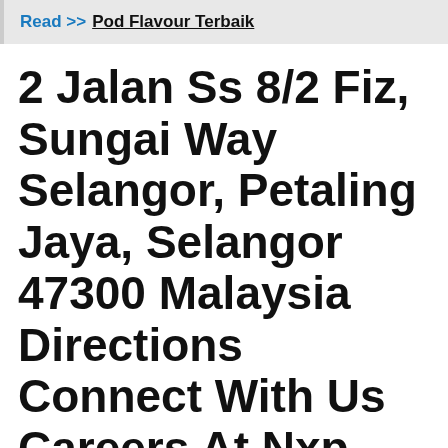Read >> Pod Flavour Terbaik
2 Jalan Ss 8/2 Fiz, Sungai Way Selangor, Petaling Jaya, Selangor 47300 Malaysia Directions Connect With Us Careers At Nxp Find Jobs At Nxp In Malaysia Or At Our Offices Around The World.
Directions to nxp semiconductors malaysia sdn bhd (petaling jaya) with public transportation. Has 180 total employees across all of its locations. Apa itu kilang nxp